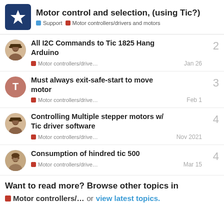Motor control and selection, (using Tic?) — Support | Motor controllers/drivers and motors
All I2C Commands to Tic 1825 Hang Arduino — Motor controllers/drive… — 2 replies — Jan 26
Must always exit-safe-start to move motor — Motor controllers/drive… — 3 replies — Feb 1
Controlling Multiple stepper motors w/ Tic driver software — Motor controllers/drive… — 4 replies — Nov 2021
Consumption of hindred tic 500 — Motor controllers/drive… — 4 replies — Mar 15
Want to read more? Browse other topics in Motor controllers/... or view latest topics.